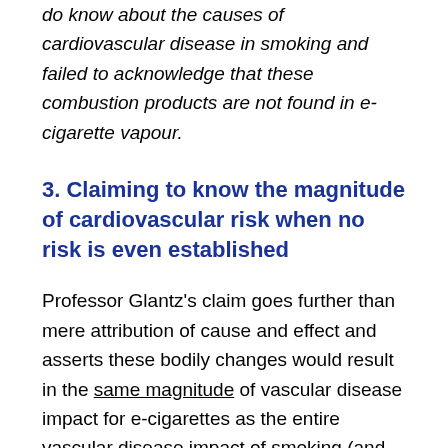do know about the causes of cardiovascular disease in smoking and failed to acknowledge that these combustion products are not found in e-cigarette vapour.
3. Claiming to know the magnitude of cardiovascular risk when no risk is even established
Professor Glantz's claim goes further than mere attribution of cause and effect and asserts these bodily changes would result in the same magnitude of vascular disease impact for e-cigarettes as the entire vascular disease impact of smoking (and those include harms arising from CO exposure and several other cardiotoxic agents not found in e-cigarettes).